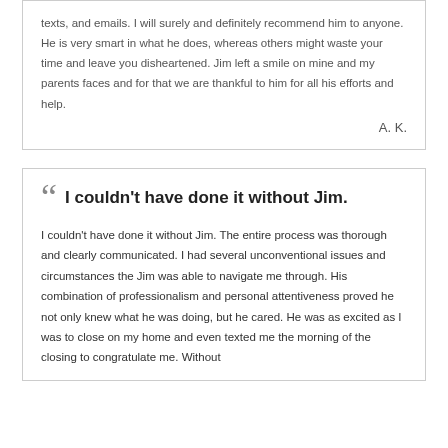texts, and emails. I will surely and definitely recommend him to anyone. He is very smart in what he does, whereas others might waste your time and leave you disheartened. Jim left a smile on mine and my parents faces and for that we are thankful to him for all his efforts and help.
A. K.
I couldn't have done it without Jim.
I couldn't have done it without Jim. The entire process was thorough and clearly communicated. I had several unconventional issues and circumstances the Jim was able to navigate me through. His combination of professionalism and personal attentiveness proved he not only knew what he was doing, but he cared. He was as excited as I was to close on my home and even texted me the morning of the closing to congratulate me. Without